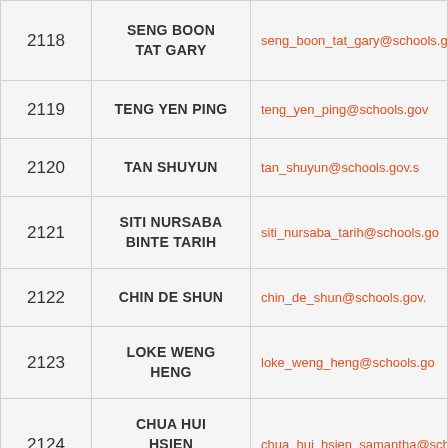| No. | Name | Email |
| --- | --- | --- |
| 2118 | SENG BOON TAT GARY | seng_boon_tat_gary@schools.g... |
| 2119 | TENG YEN PING | teng_yen_ping@schools.gov... |
| 2120 | TAN SHUYUN | tan_shuyun@schools.gov.s... |
| 2121 | SITI NURSABA BINTE TARIH | siti_nursaba_tarih@schools.go... |
| 2122 | CHIN DE SHUN | chin_de_shun@schools.gov.... |
| 2123 | LOKE WENG HENG | loke_weng_heng@schools.go... |
| 2124 | CHUA HUI HSIEN SAMANTHA | chua_hui_hsien_samantha@schoo... |
|  |  |  |